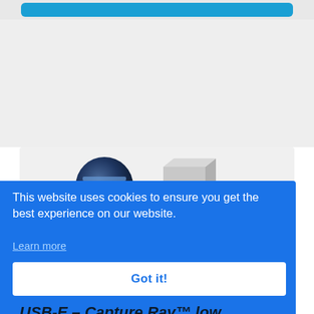[Figure (screenshot): Top blue navigation bar on a gray background]
[Figure (photo): Product image area showing a circular lens/disk photo and a gray box product on a light gray background]
This website uses cookies to ensure you get the best experience on our website.
Learn more
Got it!
USB-E – Capture Ray™ low